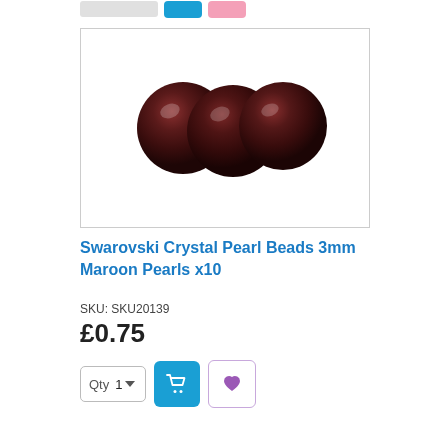[Figure (photo): Three round dark maroon/burgundy Swarovski crystal pearl beads displayed against a white background inside a bordered product image box.]
Swarovski Crystal Pearl Beads 3mm Maroon Pearls x10
SKU: SKU20139
£0.75